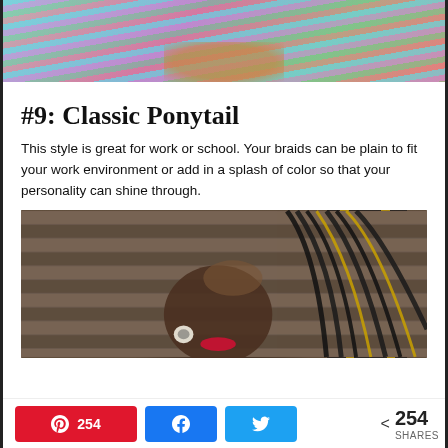[Figure (photo): Top portion of a person with colorful braided hair extensions in teal, purple, and other vibrant colors, wearing a colorful top]
#9: Classic Ponytail
This style is great for work or school. Your braids can be plain to fit your work environment or add in a splash of color so that your personality can shine through.
[Figure (photo): A woman with black box braids styled in a classic ponytail, wearing red lipstick and a white earring, photographed against a wooden slatted wall background]
254  [Pinterest]  [Facebook]  [Twitter]  < 254 SHARES